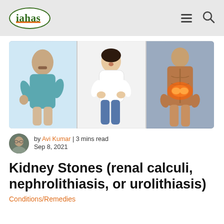iahas — navigation header with logo, hamburger menu, and search icon
[Figure (photo): Three-panel hero image showing people experiencing kidney pain: left panel shows a man in a teal shirt holding his side, center panel shows a woman on a bed holding her abdomen, right panel shows a man's back with a red/orange glow at the kidney area.]
by Avi Kumar | 3 mins read
Sep 8, 2021
Kidney Stones (renal calculi, nephrolithiasis, or urolithiasis)
Conditions/Remedies